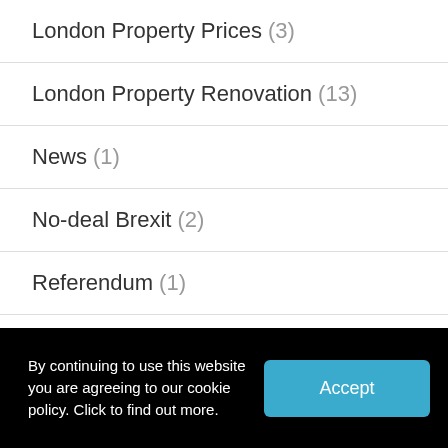London Property Prices (3)
London Property Renovation (13)
News (1)
No-deal Brexit (2)
Referendum (1)
Relocation (2)
renovation (2)
By continuing to use this website you are agreeing to our cookie policy. Click to find out more.